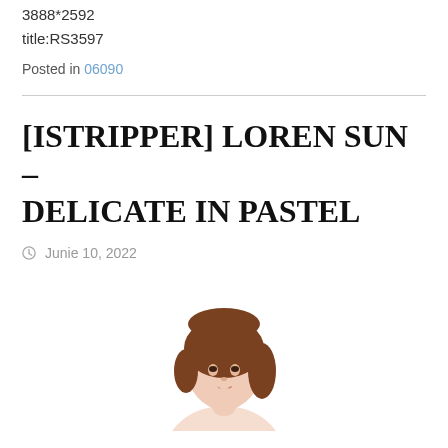3888*2592
title:RS3597
Posted in 06090
[ISTRIPPER] LOREN SUN – DELICATE IN PASTEL
Junie 10, 2022
[Figure (photo): Partial view of a woman's head and shoulders, brown hair, looking upward, white background, cropped at bottom edge of page]